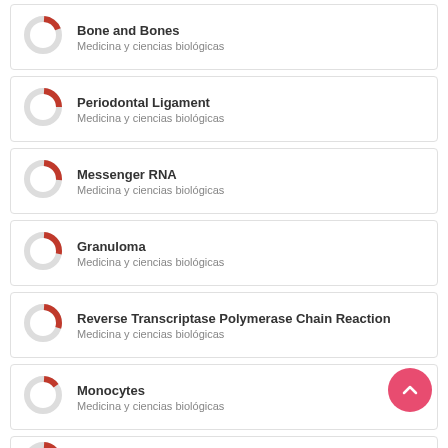Bone and Bones — Medicina y ciencias biológicas
Periodontal Ligament — Medicina y ciencias biológicas
Messenger RNA — Medicina y ciencias biológicas
Granuloma — Medicina y ciencias biológicas
Reverse Transcriptase Polymerase Chain Reaction — Medicina y ciencias biológicas
Monocytes — Medicina y ciencias biológicas
Leukocytes — Medicina y ciencias biológicas